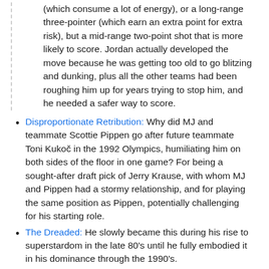(which consume a lot of energy), or a long-range three-pointer (which earn an extra point for extra risk), but a mid-range two-point shot that is more likely to score. Jordan actually developed the move because he was getting too old to go blitzing and dunking, plus all the other teams had been roughing him up for years trying to stop him, and he needed a safer way to score.
Disproportionate Retribution: Why did MJ and teammate Scottie Pippen go after future teammate Toni Kukoč in the 1992 Olympics, humiliating him on both sides of the floor in one game? For being a sought-after draft pick of Jerry Krause, with whom MJ and Pippen had a stormy relationship, and for playing the same position as Pippen, potentially challenging for his starting role.
The Dreaded: He slowly became this during his rise to superstardom in the late 80's until he fully embodied it in his dominance through the 1990's.
(truncated — partial bullet visible at bottom)